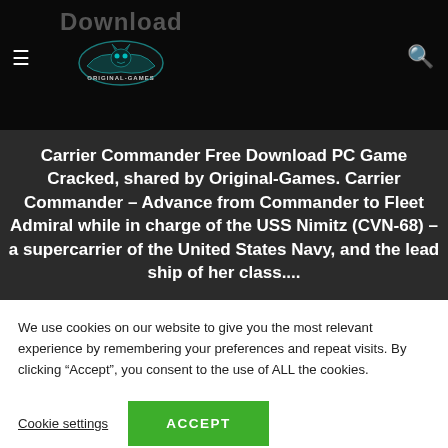Download — Original-Games
Carrier Commander Free Download PC Game Cracked, shared by Original-Games. Carrier Commander – Advance from Commander to Fleet Admiral while in charge of the USS Nimitz (CVN-68) – a supercarrier of the United States Navy, and the lead ship of her class....
We use cookies on our website to give you the most relevant experience by remembering your preferences and repeat visits. By clicking “Accept”, you consent to the use of ALL the cookies.
Cookie settings   ACCEPT